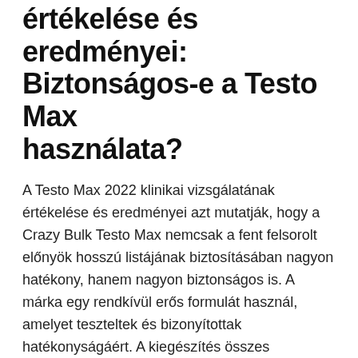értékelése és eredményei: Biztonságos-e a Testo Max használata?
A Testo Max 2022 klinikai vizsgálatának értékelése és eredményei azt mutatják, hogy a Crazy Bulk Testo Max nemcsak a fent felsorolt előnyök hosszú listájának biztosításában nagyon hatékony, hanem nagyon biztonságos is. A márka egy rendkívül erős formulát használ, amelyet teszteltek és bizonyítottak hatékonyságáért. A kiegészítés összes összetevőjét tesztelik a biztonságuk szempontjából.
Testo Max mellékhatások
Az egyik oka annak , hogy a Testo Max-ot a Sustanon legbiztonságosabb alternatívájaként ajánlják , az az,